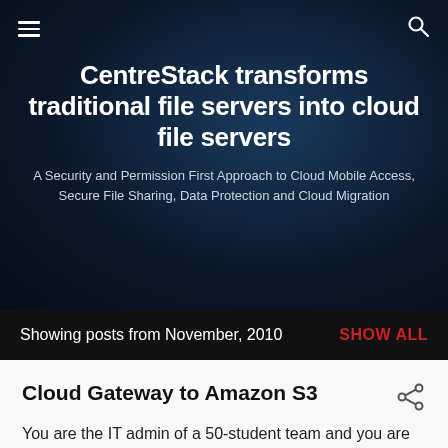≡  🔍
CentreStack transforms traditional file servers into cloud file servers
A Security and Permission First Approach to Cloud Mobile Access, Secure File Sharing, Data Protection and Cloud Migration
Showing posts from November, 2010   SHOW ALL
Cloud Gateway to Amazon S3
By CentreStack - November 30, 2010
You are the IT admin of a 50-student team and you are thinking of providing cloud storage for each of the 50 students. Each will have around 10G cloud storage space.